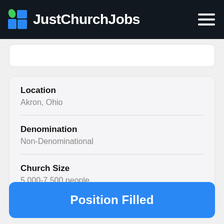JustChurchJobs
Location
Akron, Ohio
Denomination
Non-Denominational
Church Size
5,000-7,500 people
Position Filled